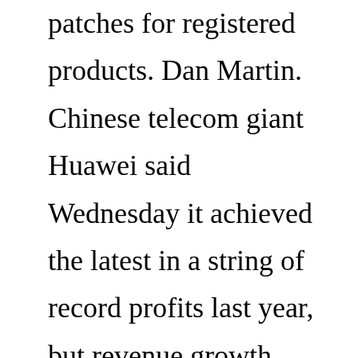patches for registered products. Dan Martin. Chinese telecom giant Huawei said Wednesday it achieved the latest in a string of record profits last year, but revenue growth slowed sharply because of the pandemic and tightening US pressure that has pushed it into new business lines to survive. Unlisted Huawei said net profit rose 3.2 percent to 64.6 billion yuan ($9.9 billion ...Nov 15, 2018 · Usually, requesting a bootloader unlock code involves filling